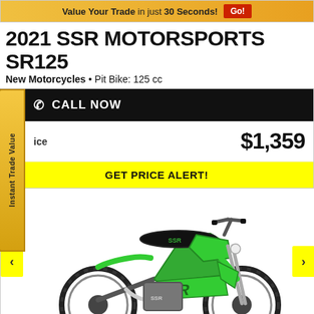Value Your Trade in just 30 Seconds! Go!
2021 SSR MOTORSPORTS SR125
New Motorcycles • Pit Bike: 125 cc
CALL NOW
Price $1,359
GET PRICE ALERT!
[Figure (photo): Green SSR Motorsports SR125 125cc pit bike / dirt bike on white background, shown in profile view with chrome exhaust, knobby tires, and green plastic bodywork with SSR graphics.]